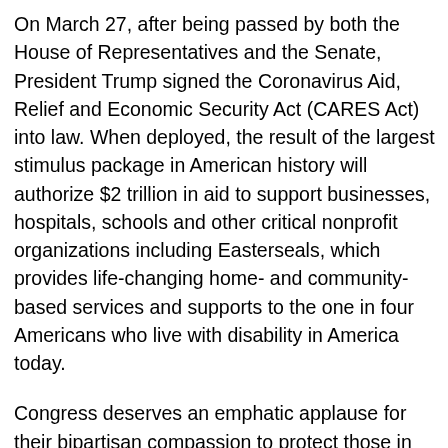On March 27, after being passed by both the House of Representatives and the Senate, President Trump signed the Coronavirus Aid, Relief and Economic Security Act (CARES Act) into law. When deployed, the result of the largest stimulus package in American history will authorize $2 trillion in aid to support businesses, hospitals, schools and other critical nonprofit organizations including Easterseals, which provides life-changing home- and community-based services and supports to the one in four Americans who live with disability in America today.
Congress deserves an emphatic applause for their bipartisan compassion to protect those in need and for their continued support during this national public health crisis, addressing immediate needs and the support that will be required throughout recovery from this pandemic. The entire nonprofit universe has been upended, and the recognition and